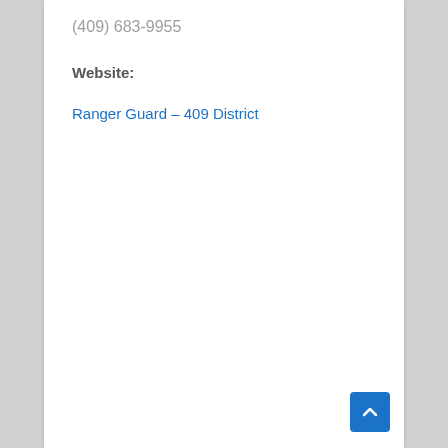(409) 683-9955
Website:
Ranger Guard – 409 District